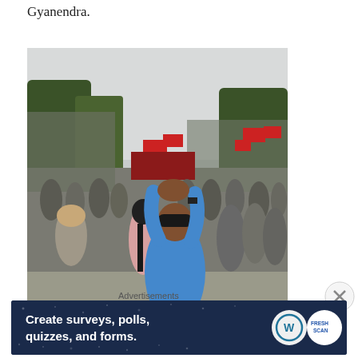Gyanendra.
[Figure (photo): A crowd protest scene. A man in a blue shirt raises his clasped hands above his head, back to camera, sitting on a bicycle. A large crowd of people with red flags fills the background street scene, with trees and buildings visible.]
Advertisements
[Figure (screenshot): Advertisement banner with dark navy background and scattered star dots. Text reads: 'Create surveys, polls, quizzes, and forms.' WordPress logo and a circular 'FRESH SCAN' badge on the right.]